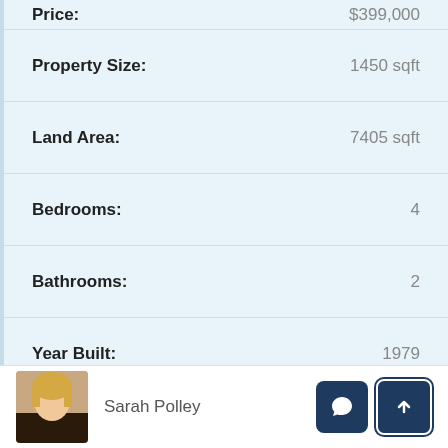| Property Detail | Value |
| --- | --- |
| Price: | $399,000 |
| Property Size: | 1450 sqft |
| Land Area: | 7405 sqft |
| Bedrooms: | 4 |
| Bathrooms: | 2 |
| Year Built: | 1979 |
| Property Type: | Residential |
Sarah Polley